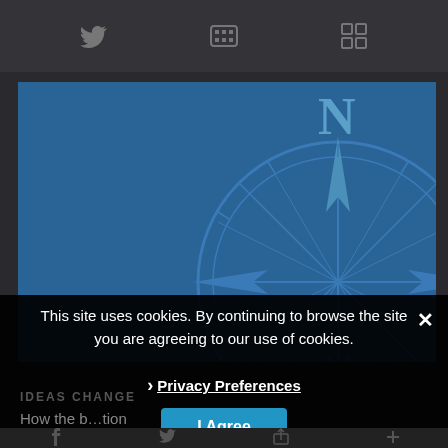[Figure (screenshot): Top navigation bar with social media icons (Twitter, YouTube, RSS/grid icon) on dark background]
Newsletter Signup
[Figure (illustration): Blue modal popup with compass rose watermark illustration showing North direction]
This site uses cookies. By continuing to browse the site you are agreeing to our use of cookies.
› Privacy Preferences
I Agree
IDEAS CHANGE
[Figure (screenshot): Bottom social media bar with Facebook, Twitter, share, and other icons]